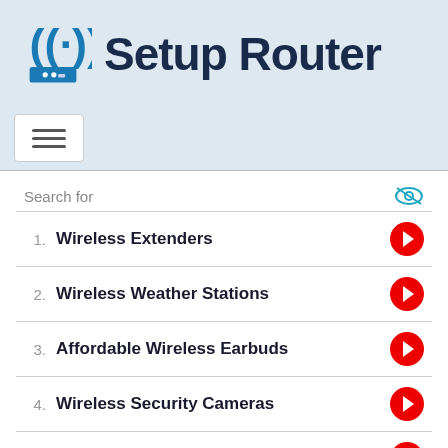Setup Router
1. Wireless Extenders
2. Wireless Weather Stations
3. Affordable Wireless Earbuds
4. Wireless Security Cameras
5. Wireless Network Analyzer
6. Canon Wireless Printers
Ad | Business Focus